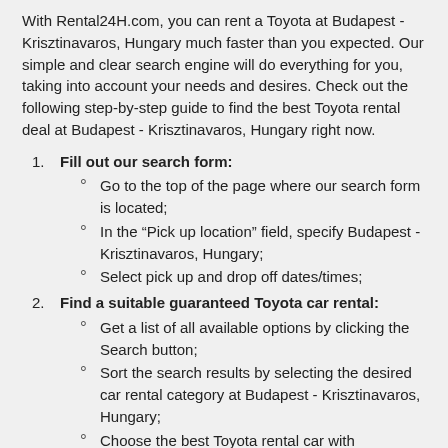With Rental24H.com, you can rent a Toyota at Budapest - Krisztinavaros, Hungary much faster than you expected. Our simple and clear search engine will do everything for you, taking into account your needs and desires. Check out the following step-by-step guide to find the best Toyota rental deal at Budapest - Krisztinavaros, Hungary right now.
1. Fill out our search form:
Go to the top of the page where our search form is located;
In the “Pick up location” field, specify Budapest - Krisztinavaros, Hungary;
Select pick up and drop off dates/times;
2. Find a suitable guaranteed Toyota car rental:
Get a list of all available options by clicking the Search button;
Sort the search results by selecting the desired car rental category at Budapest - Krisztinavaros, Hungary;
Choose the best Toyota rental car with “Guaranteed Car Model” sign;